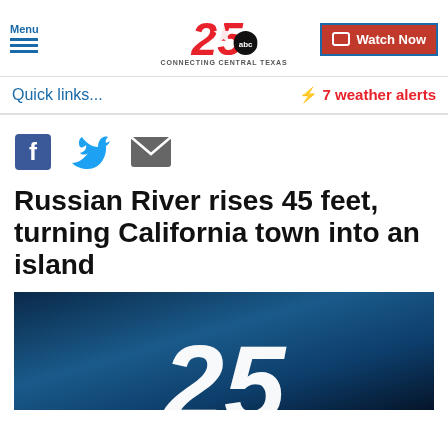Menu | 25 ABC Connecting Central Texas | Watch Now
Quick links...
⚡ 7 weather alerts
[Figure (other): Social sharing icons: Facebook, Twitter, Email]
Russian River rises 45 feet, turning California town into an island
[Figure (photo): Dark blue toned news broadcast image with large white '25' logo text overlay at bottom center]